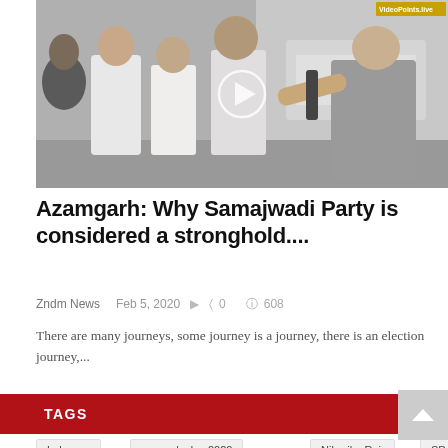[Figure (photo): A group of people, some in white shirts, appearing to have a conversation outdoors. A young person on the right gestures toward the group. A play button overlay is visible in the center indicating this is a video thumbnail. A yellow watermark is in the top-right corner.]
Azamgarh: Why Samajwadi Party is considered a stronghold....
Zndm News   Feb 5, 2020   ⦑ 0   ◉ 608
There are many journeys, some journey is a journey, there is an election journey,...
TAGS
Lebanon
women's day 2020
Niharika Rai.
SP City